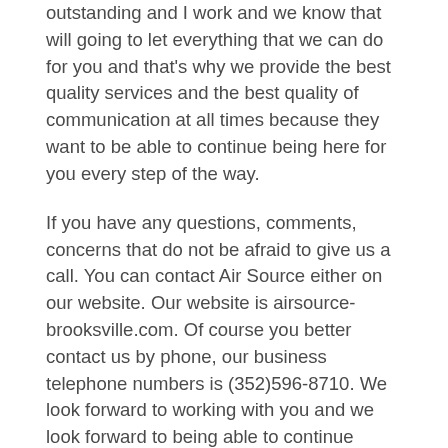outstanding and I work and we know that will going to let everything that we can do for you and that's why we provide the best quality services and the best quality of communication at all times because they want to be able to continue being here for you every step of the way.
If you have any questions, comments, concerns that do not be afraid to give us a call. You can contact Air Source either on our website. Our website is airsource-brooksville.com. Of course you better contact us by phone, our business telephone numbers is (352)596-8710. We look forward to working with you and we look forward to being able to continue giving you the best services in the business because we have everything we do is completely outstanding and we are the best family-owned and operated business for you and we want to be able to continue serving you and sending our community.